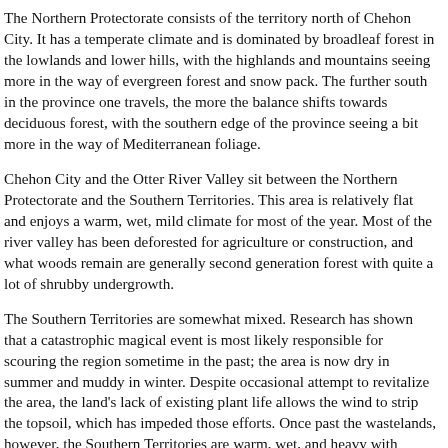The Northern Protectorate consists of the territory north of Chehon City. It has a temperate climate and is dominated by broadleaf forest in the lowlands and lower hills, with the highlands and mountains seeing more in the way of evergreen forest and snow pack. The further south in the province one travels, the more the balance shifts towards deciduous forest, with the southern edge of the province seeing a bit more in the way of Mediterranean foliage.
Chehon City and the Otter River Valley sit between the Northern Protectorate and the Southern Territories. This area is relatively flat and enjoys a warm, wet, mild climate for most of the year. Most of the river valley has been deforested for agriculture or construction, and what woods remain are generally second generation forest with quite a lot of shrubby undergrowth.
The Southern Territories are somewhat mixed. Research has shown that a catastrophic magical event is most likely responsible for scouring the region sometime in the past; the area is now dry in summer and muddy in winter. Despite occasional attempt to revitalize the area, the land's lack of existing plant life allows the wind to strip the topsoil, which has impeded those efforts. Once past the wastelands, however, the Southern Territories are warm, wet, and heavy with rapidly growing Mediterranean and subtropical flora.